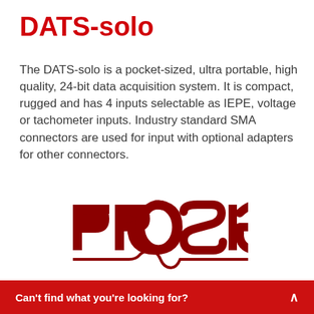DATS-solo
The DATS-solo is a pocket-sized, ultra portable, high quality, 24-bit data acquisition system. It is compact, rugged and has 4 inputs selectable as IEPE, voltage or tachometer inputs. Industry standard SMA connectors are used for input with optional adapters for other connectors.
[Figure (logo): PROSIG company logo in dark red/maroon with stylized lettering and a waveform underline]
Can't find what you're looking for?